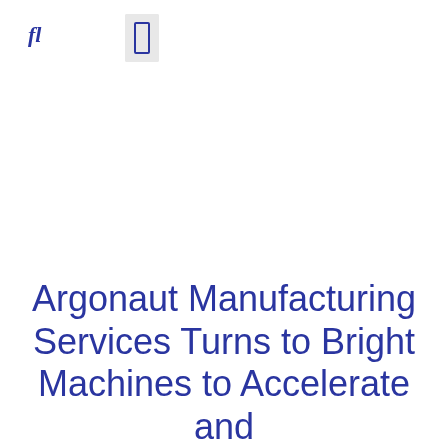fl
[Figure (logo): Small rectangular icon/logo placeholder with grey background and blue border outline]
Argonaut Manufacturing Services Turns to Bright Machines to Accelerate and